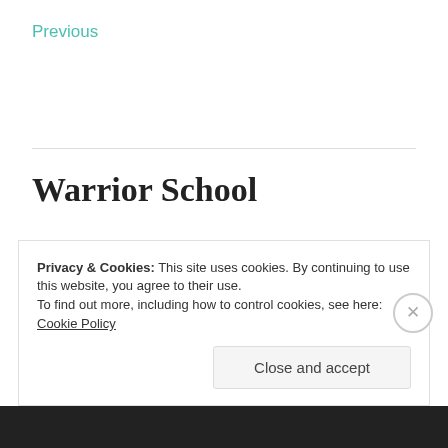Previous
Warrior School
APRIL 8, 2020 / LEAVE A COMMENT
Ratchet is the last Autobot standing and must learn to become a warrior if he is to survive and rescue his comrades. Meanwhile the Decepticons continue to
Privacy & Cookies: This site uses cookies. By continuing to use this website, you agree to their use.
To find out more, including how to control cookies, see here: Cookie Policy
Close and accept